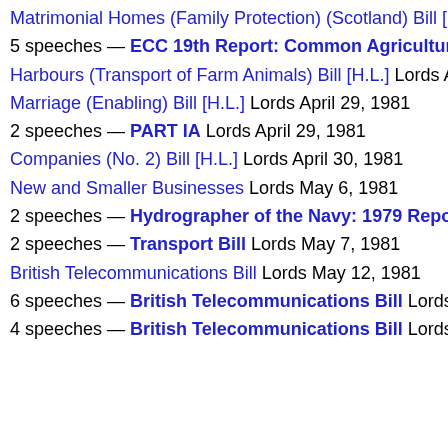Matrimonial Homes (Family Protection) (Scotland) Bill [H.L.] Lo
5 speeches — ECC 19th Report: Common Agricultural Poli
Harbours (Transport of Farm Animals) Bill [H.L.] Lords April 14
Marriage (Enabling) Bill [H.L.] Lords April 29, 1981
2 speeches — PART IA Lords April 29, 1981
Companies (No. 2) Bill [H.L.] Lords April 30, 1981
New and Smaller Businesses Lords May 6, 1981
2 speeches — Hydrographer of the Navy: 1979 Report Lord
2 speeches — Transport Bill Lords May 7, 1981
British Telecommunications Bill Lords May 12, 1981
6 speeches — British Telecommunications Bill Lords May 1
4 speeches — British Telecommunications Bill Lords May 1